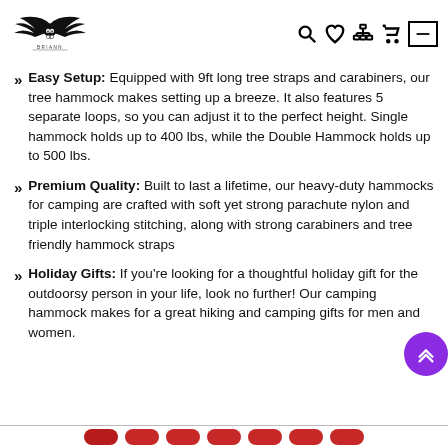Briann store logo with navigation icons
Easy Setup: Equipped with 9ft long tree straps and carabiners, our tree hammock makes setting up a breeze. It also features 5 separate loops, so you can adjust it to the perfect height. Single hammock holds up to 400 lbs, while the Double Hammock holds up to 500 lbs.
Premium Quality: Built to last a lifetime, our heavy-duty hammocks for camping are crafted with soft yet strong parachute nylon and triple interlocking stitching, along with strong carabiners and tree friendly hammock straps
Holiday Gifts: If you’re looking for a thoughtful holiday gift for the outdoorsy person in your life, look no further! Our camping hammock makes for a great hiking and camping gifts for men and women.